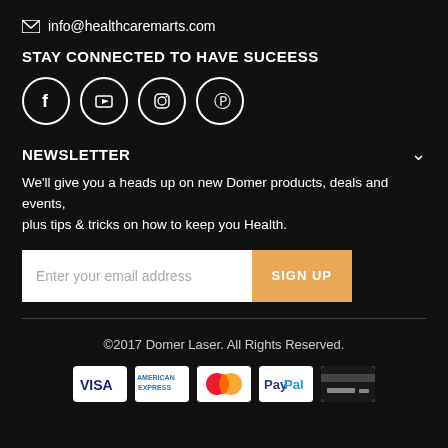info@healthcaremarts.com
STAY CONNECTED TO HAVE SUCEESS
[Figure (infographic): Four social media icons in white circles: Facebook, YouTube, Instagram, Pinterest]
NEWSLETTER
We'll give you a heads up on new Domer products, deals and events, plus tips & tricks on how to keep you Health.
[Figure (infographic): Email sign-up form with text field 'Enter your email address' and orange 'SIGN UP' button]
©2017 Domer Laser. All Rights Reserved.
[Figure (infographic): Payment method icons: VISA, American Express, Mastercard, PayPal, generic card]